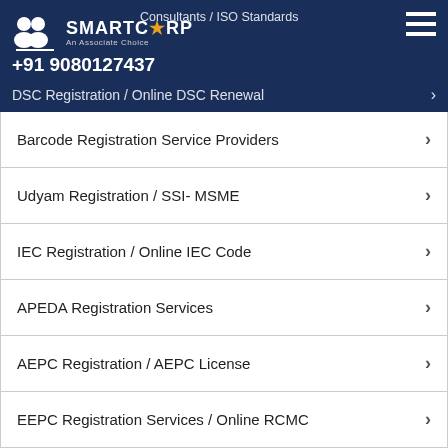SMARTCORP An Associate Choice | Consultants / ISO Standards | +91 9080127437 | DSC Registration / Online DSC Renewal
Barcode Registration Service Providers
Udyam Registration / SSI- MSME
IEC Registration / Online IEC Code
APEDA Registration Services
AEPC Registration / AEPC License
EEPC Registration Services / Online RCMC
Spice Board Registration Service Providers